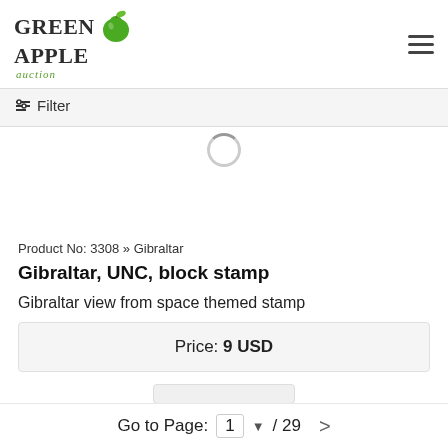[Figure (logo): Green Apple Auction logo with apple graphic]
↕ Filter
Product No: 3308 » Gibraltar
Gibraltar, UNC, block stamp
Gibraltar view from space themed stamp
Price: 9 USD
Go to Page: 1 ▼ / 29 >